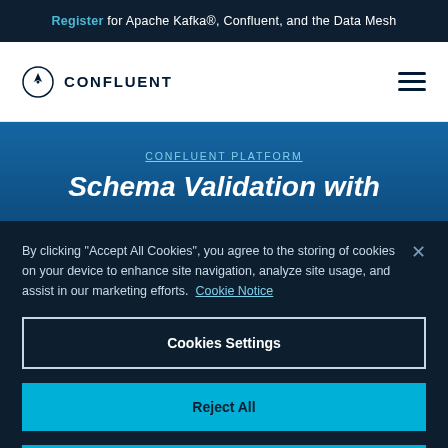Register for Apache Kafka®, Confluent, and the Data Mesh
[Figure (logo): Confluent logo with compass-like circle icon and text CONFLUENT]
By clicking "Accept All Cookies", you agree to the storing of cookies on your device to enhance site navigation, analyze site usage, and assist in our marketing efforts. Cookie Notice
CONFLUENT PLATFORM
Schema Validation with
Cookies Settings
Reject All